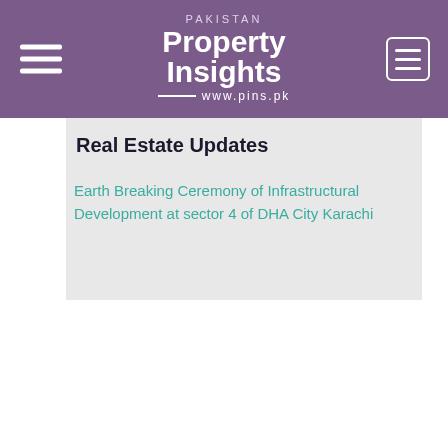PAKISTAN Property Insights www.pins.pk
Real Estate Updates
Earth Breaking Ceremony of Infrastructural Development at sector 4 of DHA City Karachi
Real Estate Updates
The owner of DHA Oasis Farmhouse Karachi get their keys